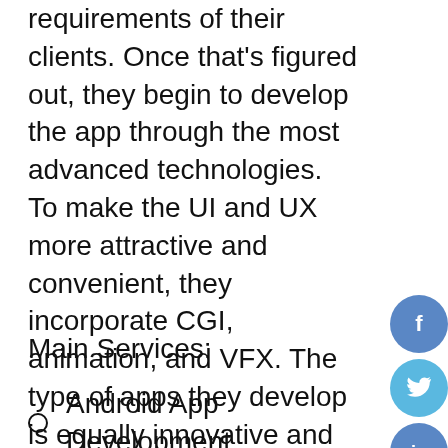requirements of their clients. Once that's figured out, they begin to develop the app through the most advanced technologies. To make the UI and UX more attractive and convenient, they incorporate CGI, animation, and VFX. The type of apps they develop is equally innovative and creative. It includes augmented reality (AR) and virtual reality (VR) apps that can generate great user interest. They also specialize in creating camera apps and camera filters & lenses.
Main Services:
Android App Development
iPhone App Development
Augmented Reality App Development